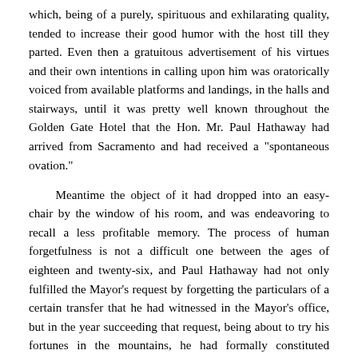which, being of a purely, spirituous and exhilarating quality, tended to increase their good humor with the host till they parted. Even then a gratuitous advertisement of his virtues and their own intentions in calling upon him was oratorically voiced from available platforms and landings, in the halls and stairways, until it was pretty well known throughout the Golden Gate Hotel that the Hon. Mr. Paul Hathaway had arrived from Sacramento and had received a "spontaneous ovation."
Meantime the object of it had dropped into an easy-chair by the window of his room, and was endeavoring to recall a less profitable memory. The process of human forgetfulness is not a difficult one between the ages of eighteen and twenty-six, and Paul Hathaway had not only fulfilled the Mayor's request by forgetting the particulars of a certain transfer that he had witnessed in the Mayor's office, but in the year succeeding that request, being about to try his fortunes in the mountains, he had formally constituted Colonel Pendleton to act as his proxy in the administration of Mrs. Howard's singular Trust, in which, however, he had never participated except yearly to sign his name. He was, consequently, somewhat astonished to have